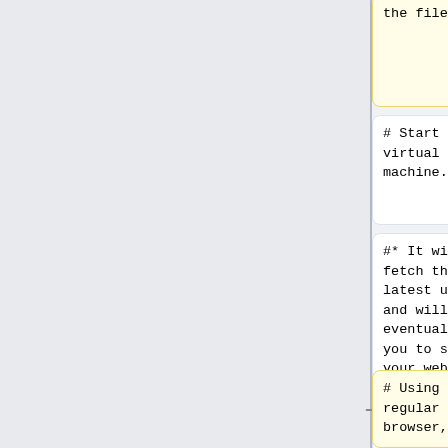the file.
<del> and open the file.
# Start the virtual machine.
# Start the virtual machine.
#* It will fetch the latest updates and will eventually tell you to start your web browser.
#* It will fetch the latest updates and will eventually tell you to start your web browser.
# Using your regular web browser, visit
# Using your regular web browser, visit